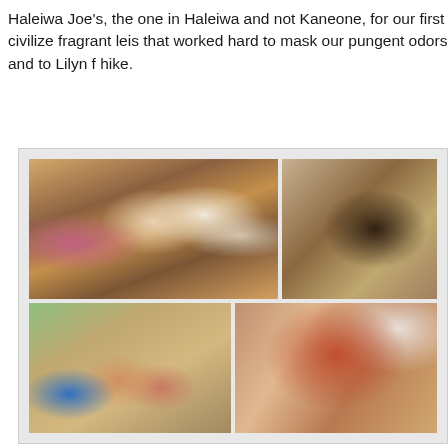Haleiwa Joe's, the one in Haleiwa and not Kaneone, for our first civilize fragrant leis that worked hard to mask our pungent odors and to Lilyn f hike.
[Figure (photo): Collage of four restaurant photos: top-left shows a group of people dining at a table with one person wearing a blue mask and a floral lei; top-right shows a person in a black hat; bottom-left shows three women at a restaurant table with one wearing a blue mask; bottom-right shows a large piece of prime rib on a plate.]